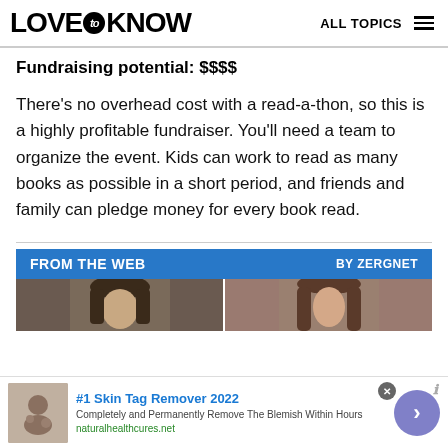LOVE to KNOW   ALL TOPICS
Fundraising potential: $$$$
There's no overhead cost with a read-a-thon, so this is a highly profitable fundraiser. You'll need a team to organize the event. Kids can work to read as many books as possible in a short period, and friends and family can pledge money for every book read.
[Figure (infographic): FROM THE WEB BY ZERGNET banner with two celebrity photo thumbnails below it]
[Figure (infographic): Advertisement bar: #1 Skin Tag Remover 2022 - Completely and Permanently Remove The Blemish Within Hours - naturalhealthcures.net]